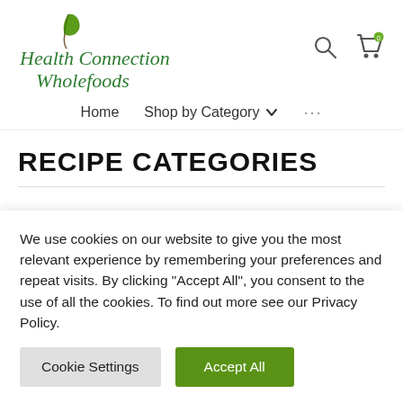[Figure (logo): Health Connection Wholefoods logo with green leaf and italic green text]
Home  Shop by Category  ···
RECIPE CATEGORIES
We use cookies on our website to give you the most relevant experience by remembering your preferences and repeat visits. By clicking "Accept All", you consent to the use of all the cookies. To find out more see our Privacy Policy.
Cookie Settings  Accept All